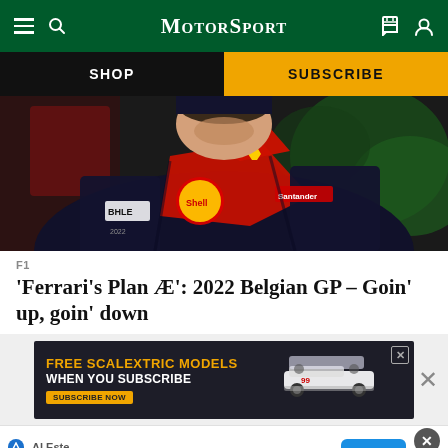MotorSport
SHOP
SUBSCRIBE
[Figure (photo): Ferrari F1 driver wearing red and black Ferrari team uniform with Shell and Santander sponsor logos, head bowed, blurred background with red and green]
F1
'Ferrari's Plan Æ': 2022 Belgian GP – Goin' up, goin' down
[Figure (screenshot): Advertisement banner: FREE SCALEXTRIC MODELS WHEN YOU SUBSCRIBE with race car image and close button X]
[Figure (screenshot): Pop-up advertisement: Al Este – Explore the east coast – OPEN button with close and fire icons]